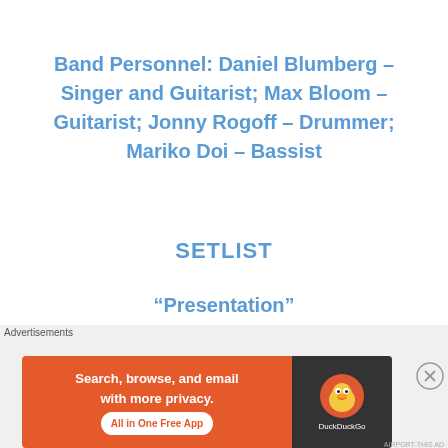Band Personnel: Daniel Blumberg – Singer and Guitarist; Max Bloom – Guitarist; Jonny Rogoff – Drummer; Mariko Doi – Bassist
SETLIST
“Presentation”
“Holing Out”
“The Wall”
Advertisements